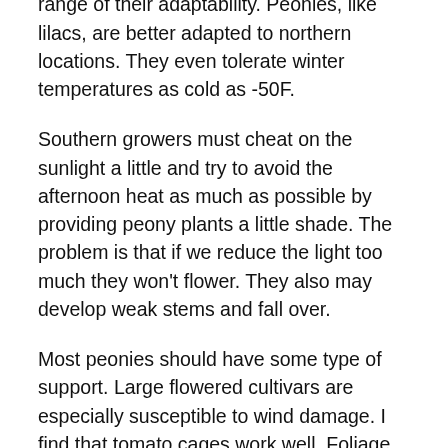North Carolina we are at the southern range of their adaptability. Peonies, like lilacs, are better adapted to northern locations. They even tolerate winter temperatures as cold as -50F.
Southern growers must cheat on the sunlight a little and try to avoid the afternoon heat as much as possible by providing peony plants a little shade. The problem is that if we reduce the light too much they won't flower. They also may develop weak stems and fall over.
Most peonies should have some type of support. Large flowered cultivars are especially susceptible to wind damage. I find that tomato cages work well. Foliage generally covers the wire and the cages protect against our strong winds.
Generally, peony plants are pretty low maintenance. They